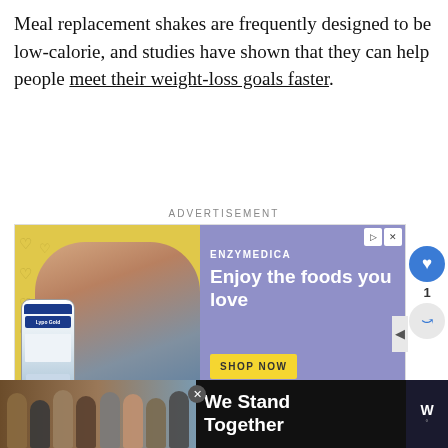Meal replacement shakes are frequently designed to be low-calorie, and studies have shown that they can help people meet their weight-loss goals faster.
ADVERTISEMENT
[Figure (photo): Advertisement for Enzymedica showing a couple smiling, holding a supplement bottle. Right side has purple background with text 'ENZYMEDICA', 'Enjoy the foods you love', and a yellow 'SHOP NOW' button.]
[Figure (photo): Bottom banner ad showing group of people with arms around each other, text 'We Stand Together' on dark background with a logo on the right.]